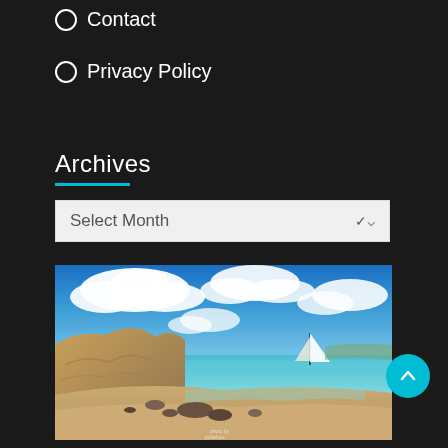Contact
Privacy Policy
Archives
Select Month
[Figure (photo): Outdoor beach scene with blue sky, white clouds, rocky coastline, turquoise water, sandy beach, and a sailboat in the background]